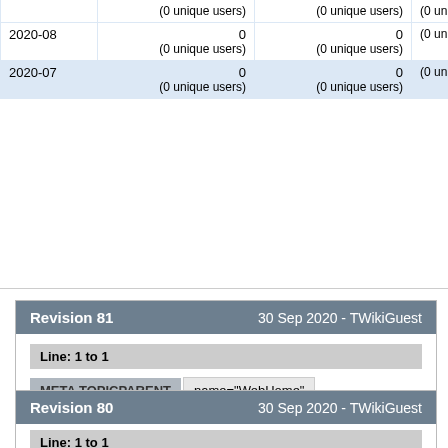|  |  |  |  |
| --- | --- | --- | --- |
|  | (0 unique users) | (0 unique users) | (0 unique users) |
| 2020-08 | 0
(0 unique users) | 0
(0 unique users) | (0 unique users) |
| 2020-07 | 0
(0 unique users) | 0
(0 unique users) | (0 unique users) |
Revision 81    30 Sep 2020 - TWikiGuest
Line: 1 to 1
META TOPICPARENT    name="WebHome"
Statistics for _default Web
Revision 80    30 Sep 2020 - TWikiGuest
Line: 1 to 1